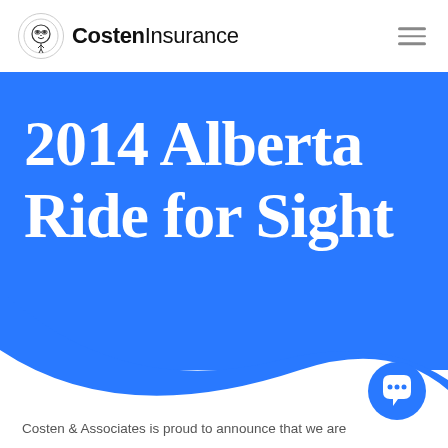Costen Insurance
2014 Alberta Ride for Sight
Costen & Associates is proud to announce that we are